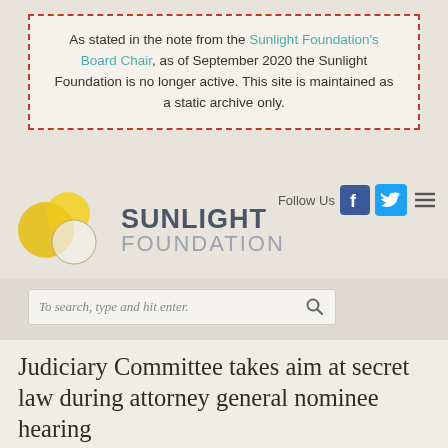As stated in the note from the Sunlight Foundation's Board Chair, as of September 2020 the Sunlight Foundation is no longer active. This site is maintained as a static archive only.
[Figure (logo): Sunlight Foundation logo with overlapping yellow and white circle orbs and text 'SUNLIGHT FOUNDATION']
To search, type and hit enter.
Judiciary Committee takes aim at secret law during attorney general nominee hearing